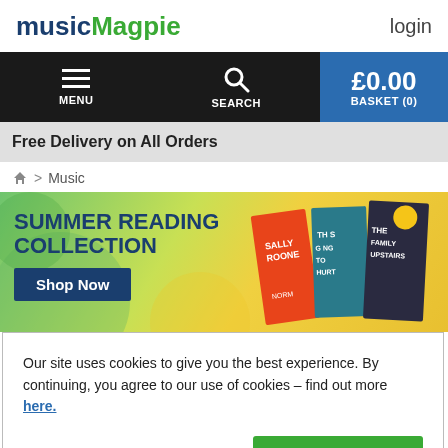musicMagpie | login
[Figure (screenshot): Navigation bar with hamburger menu (MENU), search icon (SEARCH), and basket showing £0.00 BASKET (0) on dark blue background]
Free Delivery on All Orders
🏠 > Music
[Figure (illustration): Summer Reading Collection promotional banner with green/yellow background, book covers (Sally Rooney, This is Going to Hurt, The Family Upstairs), and Shop Now button]
Our site uses cookies to give you the best experience. By continuing, you agree to our use of cookies – find out more here.
Cookies Settings | Accept All Cookies